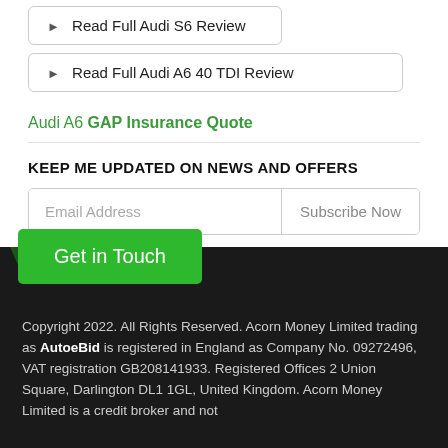▶ Read Full Audi S6 Review
▶ Read Full Audi A6 40 TDI Review
Audi A6 GAP Insurance Quote
KEEP ME UPDATED ON NEWS AND OFFERS
Email Address
Subscribe Now
Get in Touch
Copyright 2022. All Rights Reserved. Acorn Money Limited trading as AutoeBid is registered in England as Company No. 09272496, VAT registration GB208141933. Registered Offices 2 Union Square, Darlington DL1 1GL, United Kingdom. Acorn Money Limited is a credit broker and not